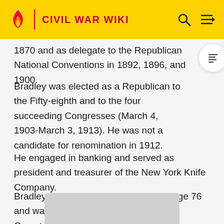CIVIL WAR WIKI
1870 and as delegate to the Republican National Conventions in 1892, 1896, and 1900.
Bradley was elected as a Republican to the Fifty-eighth and to the four succeeding Congresses (March 4, 1903-March 3, 1913). He was not a candidate for renomination in 1912.
He engaged in banking and served as president and treasurer of the New York Knife Company.
Bradley died in Walden, New York, at age 76 and was interred there in Wallkill Valley Cemetery.